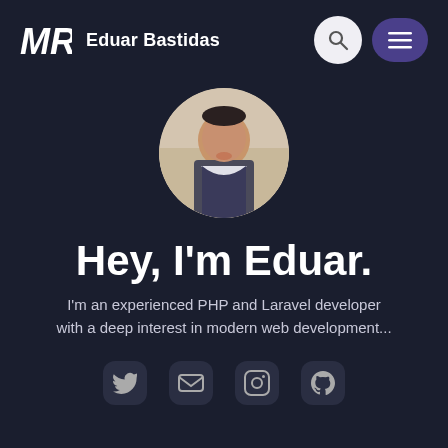MR Eduar Bastidas
[Figure (photo): Circular profile photo of Eduar Bastidas, a young man smiling, wearing a checkered shirt]
Hey, I'm Eduar.
I'm an experienced PHP and Laravel developer with a deep interest in modern web development...
[Figure (illustration): Social media icons row: Twitter, email/envelope, LinkedIn, GitHub]